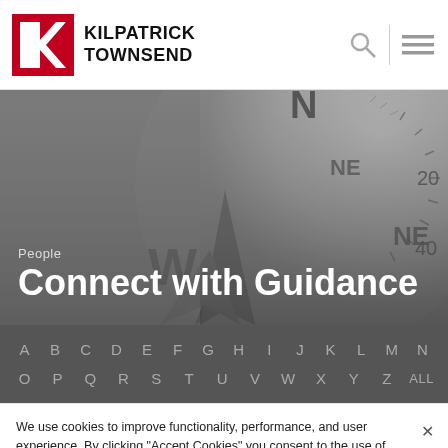[Figure (logo): Kilpatrick Townsend logo with red K chevron mark and bold text KILPATRICK TOWNSEND]
[Figure (photo): Close-up black and white photo of a compass face showing directional letters N, NE, W and degree markings 20, 40]
People
Connect with Guidance
A B C D E F G H I J K L M N
O P Q R S T U V W X Y Z ALL
We use cookies to improve functionality, performance, and user experience. By clicking "Accept Cookies" you consent to the use of cookies and related technologies on this website.